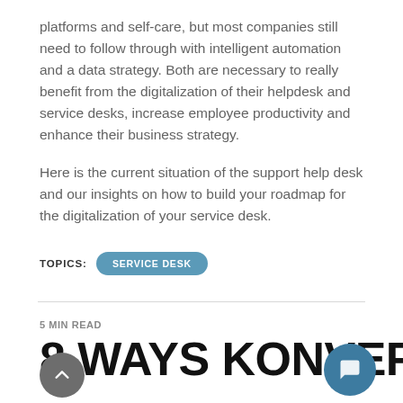platforms and self-care, but most companies still need to follow through with intelligent automation and a data strategy. Both are necessary to really benefit from the digitalization of their helpdesk and service desks, increase employee productivity and enhance their business strategy.
Here is the current situation of the support help desk and our insights on how to build your roadmap for the digitalization of your service desk.
TOPICS: SERVICE DESK
5 MIN READ
8 WAYS KONVERSO'S